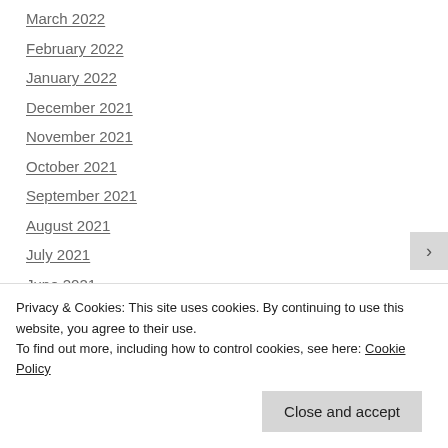March 2022
February 2022
January 2022
December 2021
November 2021
October 2021
September 2021
August 2021
July 2021
June 2021
May 2021
April 2021
March 2021
Privacy & Cookies: This site uses cookies. By continuing to use this website, you agree to their use.
To find out more, including how to control cookies, see here: Cookie Policy
Close and accept